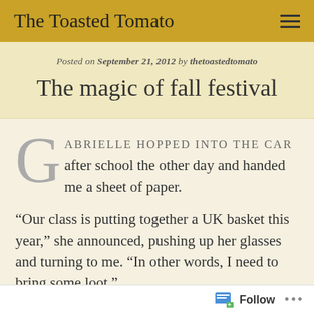The Toasted Tomato
Posted on September 21, 2012 by thetoastedtomato
The magic of fall festival
GABRIELLE HOPPED INTO THE CAR after school the other day and handed me a sheet of paper.
“Our class is putting together a UK basket this year,” she announced, pushing up her glasses and turning to me. “In other words, I need to bring some loot.”